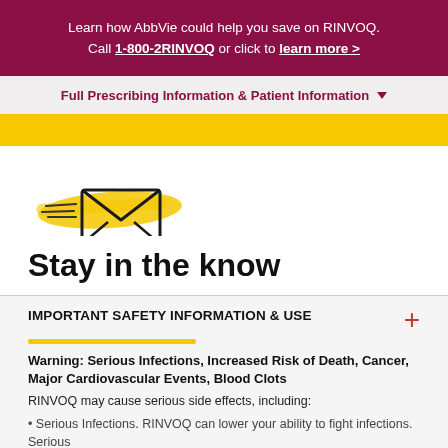Learn how AbbVie could help you save on RINVOQ. Call 1-800-2RINVOQ or click to learn more >
Full Prescribing Information & Patient Information
[Figure (illustration): Yellow brushstroke with envelope/mail icon with speed lines, suggesting fast delivery or newsletter signup]
Stay in the know
IMPORTANT SAFETY INFORMATION & USE
Warning: Serious Infections, Increased Risk of Death, Cancer, Major Cardiovascular Events, Blood Clots
RINVOQ may cause serious side effects, including:
Serious Infections. RINVOQ can lower your ability to fight infections. Serious